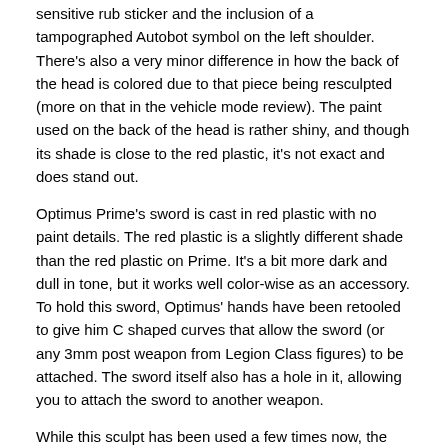sensitive rub sticker and the inclusion of a tampographed Autobot symbol on the left shoulder. There's also a very minor difference in how the back of the head is colored due to that piece being resculpted (more on that in the vehicle mode review). The paint used on the back of the head is rather shiny, and though its shade is close to the red plastic, it's not exact and does stand out.
Optimus Prime's sword is cast in red plastic with no paint details. The red plastic is a slightly different shade than the red plastic on Prime. It's a bit more dark and dull in tone, but it works well color-wise as an accessory. To hold this sword, Optimus' hands have been retooled to give him C shaped curves that allow the sword (or any 3mm post weapon from Legion Class figures) to be attached. The sword itself also has a hole in it, allowing you to attach the sword to another weapon.
While this sculpt has been used a few times now, the tooling seems to be okay. The joints are nice and tight and the details still look great.
Transformation to Vehicle Mode:
Push the robot head down.
Connect the two legs together and swing them back.
Swing the upper body back.
Bend the arms at the elbows.